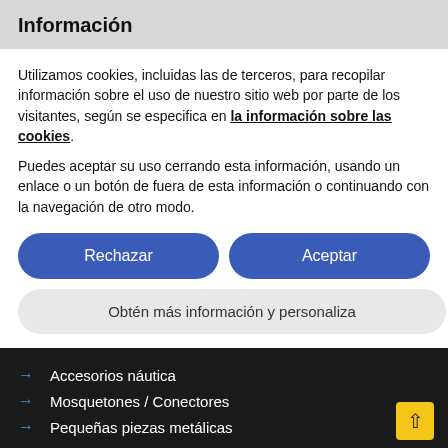Información
Utilizamos cookies, incluidas las de terceros, para recopilar información sobre el uso de nuestro sitio web por parte de los visitantes, según se especifica en la información sobre las cookies.
Puedes aceptar su uso cerrando esta información, usando un enlace o un botón de fuera de esta información o continuando con la navegación de otro modo.
Rechazar | Aceptar
Obtén más información y personaliza
Accesorios náutica
Mosquetones / Conectores
Pequeñas piezas metálicas